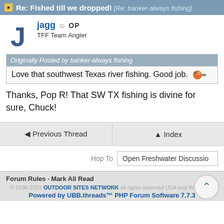Re: Fished till we dropped! [Re: banker-always fishing]
jagg OP
TFF Team Angler
Originally Posted by banker-always fishing
Love that southwest Texas river fishing. Good job.
Thanks, Pop R! That SW TX fishing is divine for sure, Chuck!
◄ Previous Thread   ▲ Index
Hop To   Open Freshwater Discussion
Forum Rules · Mark All Read
© 1998-2022 OUTDOOR SITES NETWORK all rights reserved USA and Worldwide
Powered by UBB.threads™ PHP Forum Software 7.7.3